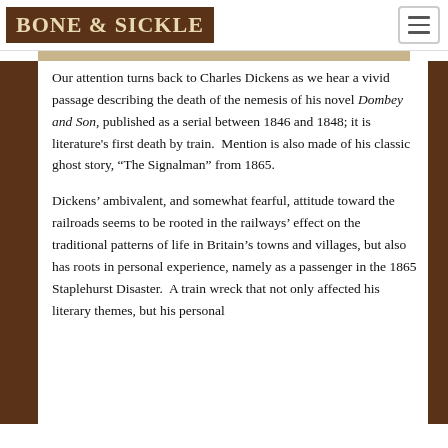BONE & SICKLE
Our attention turns back to Charles Dickens as we hear a vivid passage describing the death of the nemesis of his novel Dombey and Son, published as a serial between 1846 and 1848; it is literature's first death by train.  Mention is also made of his classic ghost story, “The Signalman” from 1865.
Dickens’ ambivalent, and somewhat fearful, attitude toward the railroads seems to be rooted in the railways’ effect on the traditional patterns of life in Britain’s towns and villages, but also has roots in personal experience, namely as a passenger in the 1865 Staplehurst Disaster.  A train wreck that not only affected his literary themes, but his personal